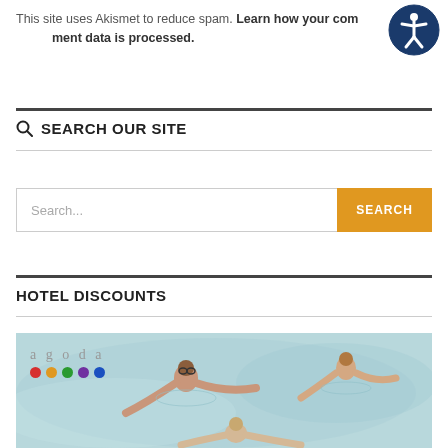This site uses Akismet to reduce spam. Learn how your comment data is processed.
SEARCH OUR SITE
[Figure (screenshot): Search bar with text input field placeholder 'Search...' and orange SEARCH button]
HOTEL DISCOUNTS
[Figure (photo): Agoda hotel booking advertisement showing people swimming in a pool, with agoda logo and colored dots in top left corner]